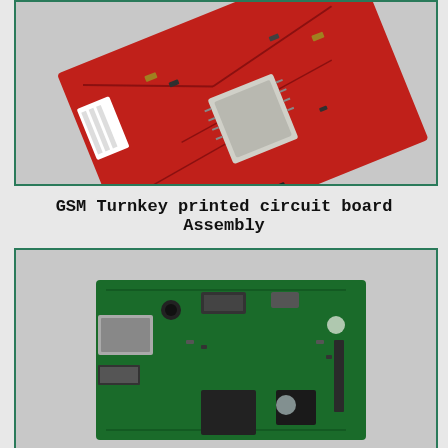[Figure (photo): Photo of a red GSM turnkey printed circuit board assembly, angled/tilted view on a light gray background, showing components including a large IC chip and white connector]
GSM Turnkey printed circuit board Assembly
[Figure (photo): Photo of a green printed circuit board (resembling a Raspberry Pi style SBC) on a light gray background, top-down view, showing Ethernet port, USB ports, HDMI connector, audio jack, and various ICs]